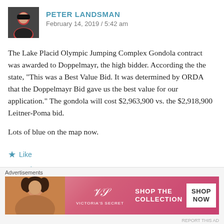PETER LANDSMAN
February 14, 2019 / 5:42 am
The Lake Placid Olympic Jumping Complex Gondola contract was awarded to Doppelmayr, the high bidder. According the the state, “This was a Best Value Bid. It was determined by ORDA that the Doppelmayr Bid gave us the best value for our application.” The gondola will cost $2,963,900 vs. the $2,918,900 Leitner-Poma bid.
Lots of blue on the map now.
★ Like
↩ Reply
[Figure (photo): Victoria's Secret advertisement banner with model and text SHOP THE COLLECTION / SHOP NOW]
Advertisements